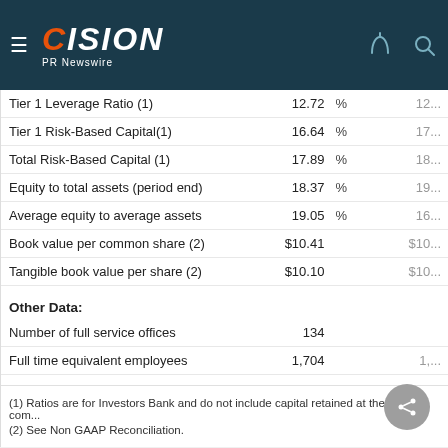CISION PR Newswire
|  | Current | % | Prior |
| --- | --- | --- | --- |
| Tier 1 Leverage Ratio (1) | 12.72 | % | 12... |
| Tier 1 Risk-Based Capital(1) | 16.64 | % | 17... |
| Total Risk-Based Capital (1) | 17.89 | % | 18... |
| Equity to total assets (period end) | 18.37 | % | 19... |
| Average equity to average assets | 19.05 | % | 16... |
| Book value per common share (2) | $10.41 |  | $10... |
| Tangible book value per share (2) | $10.10 |  | $10... |
Other Data:
|  | Current | Prior |
| --- | --- | --- |
| Number of full service offices | 134 |  |
| Full time equivalent employees | 1,704 | 1,... |
(1) Ratios are for Investors Bank and do not include capital retained at the holding com...
(2) See Non GAAP Reconciliation.